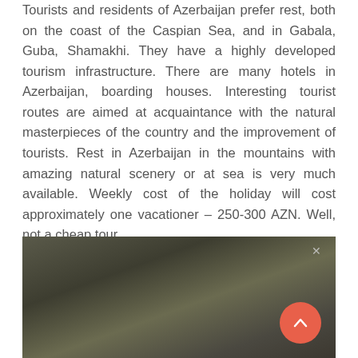Tourists and residents of Azerbaijan prefer rest, both on the coast of the Caspian Sea, and in Gabala, Guba, Shamakhi. They have a highly developed tourism infrastructure. There are many hotels in Azerbaijan, boarding houses. Interesting tourist routes are aimed at acquaintance with the natural masterpieces of the country and the improvement of tourists. Rest in Azerbaijan in the mountains with amazing natural scenery or at sea is very much available. Weekly cost of the holiday will cost approximately one vacationer – 250-300 AZN. Well, not a cheap tour.
[Figure (photo): Blurred outdoor photograph with dark earthy tones, showing a landscape or scene in muted browns and greens. A coral/red circular scroll-to-top button is overlaid in the bottom-right corner with an upward chevron arrow.]